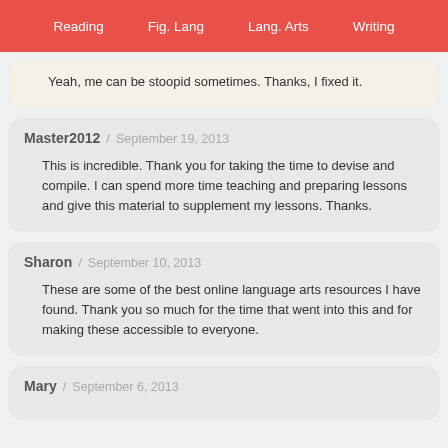Reading   Fig. Lang   Lang. Arts   Writing
Yeah, me can be stoopid sometimes. Thanks, I fixed it.
Master2012  /  September 19, 2013

This is incredible. Thank you for taking the time to devise and compile. I can spend more time teaching and preparing lessons and give this material to supplement my lessons. Thanks.
Sharon  /  September 10, 2013

These are some of the best online language arts resources I have found. Thank you so much for the time that went into this and for making these accessible to everyone.
Mary  /  September 6, 2013